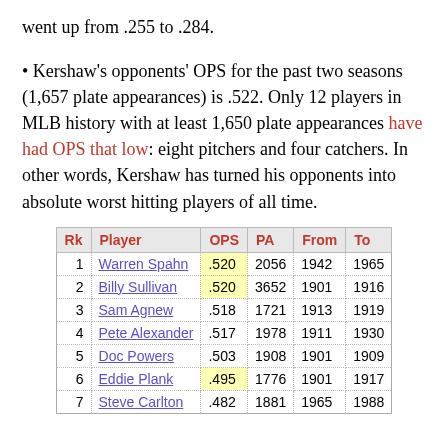went up from .255 to .284.
• Kershaw's opponents' OPS for the past two seasons (1,657 plate appearances) is .522. Only 12 players in MLB history with at least 1,650 plate appearances have had OPS that low: eight pitchers and four catchers. In other words, Kershaw has turned his opponents into absolute worst hitting players of all time.
| Rk | Player | OPS | PA | From | To |
| --- | --- | --- | --- | --- | --- |
| 1 | Warren Spahn | .520 | 2056 | 1942 | 1965 |
| 2 | Billy Sullivan | .520 | 3652 | 1901 | 1916 |
| 3 | Sam Agnew | .518 | 1721 | 1913 | 1919 |
| 4 | Pete Alexander | .517 | 1978 | 1911 | 1930 |
| 5 | Doc Powers | .503 | 1908 | 1901 | 1909 |
| 6 | Eddie Plank | .495 | 1776 | 1901 | 1917 |
| 7 | Steve Carlton | .482 | 1881 | 1965 | 1988 |